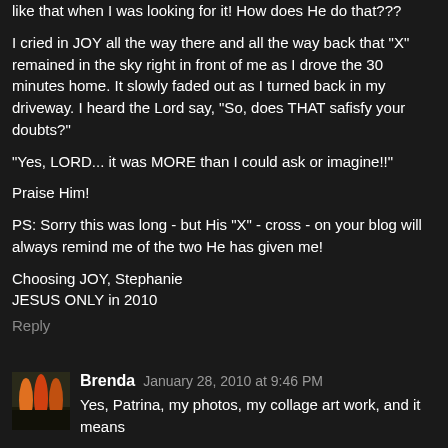like that when I was looking for it! How does He do that???
I cried in JOY all the way there and all the way back that "X" remained in the sky right in front of me as I drove the 30 minutes home. It slowly faded out as I turned back in my driveway. I heard the Lord say, "So, does THAT safisfy your doubts?"
"Yes, LORD... it was MORE than I could ask or imagine!!"
Praise Him!
PS: Sorry this was long - but His "X" - cross - on your blog will always remind me of the two He has given me!
Choosing JOY, Stephanie
JESUS ONLY in 2010
Reply
Brenda  January 28, 2010 at 9:46 PM
Yes, Patrina, my photos, my collage art work, and it means